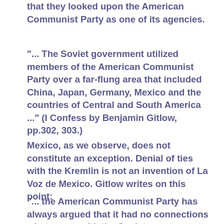that they looked upon the American Communist Party as one of its agencies.
"... The Soviet government utilized members of the American Communist Party over a far-flung area that included China, Japan, Germany, Mexico and the countries of Central and South America ..." (I Confess by Benjamin Gitlow, pp.302, 303.)
Mexico, as we observe, does not constitute an exception. Denial of ties with the Kremlin is not an invention of La Voz de Mexico. Gitlow writes on this point:
"... the American Communist Party has always argued that it had no connections whatsoever with the Soviet government, but the fact of the matter is that the American Communist Party is in the same relation to the Soviet government as the paid agents of Nazi Germany in the United States are to the government of the Third Reich." (I Confess by Benjamin Gitlow, pp.300 and 301.)